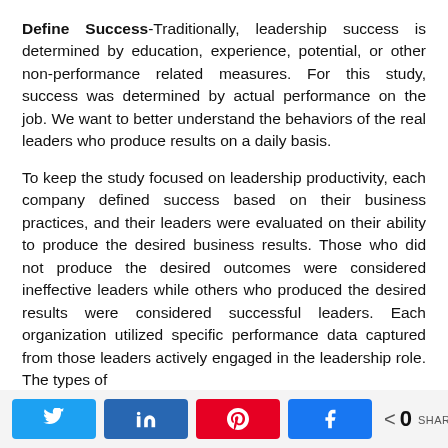Define Success-Traditionally, leadership success is determined by education, experience, potential, or other non-performance related measures. For this study, success was determined by actual performance on the job. We want to better understand the behaviors of the real leaders who produce results on a daily basis.
To keep the study focused on leadership productivity, each company defined success based on their business practices, and their leaders were evaluated on their ability to produce the desired business results. Those who did not produce the desired outcomes were considered ineffective leaders while others who produced the desired results were considered successful leaders. Each organization utilized specific performance data captured from those leaders actively engaged in the leadership role. The types of
[Figure (infographic): Social share buttons bar with Twitter, LinkedIn, Pinterest, Facebook buttons and a share count showing 0 SHARES]